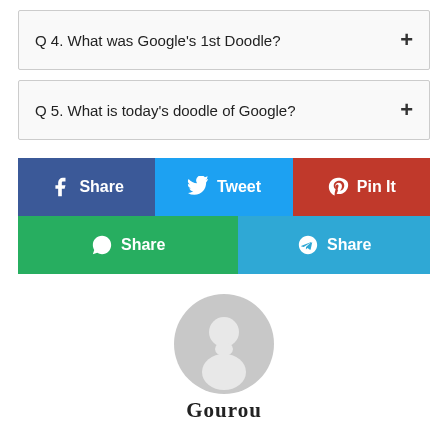Q 4. What was Google's 1st Doodle?
Q 5. What is today's doodle of Google?
[Figure (infographic): Social share buttons: Facebook Share, Tweet, Pin It, WhatsApp Share, Telegram Share]
[Figure (photo): Generic user avatar icon (grey silhouette)]
Gourou